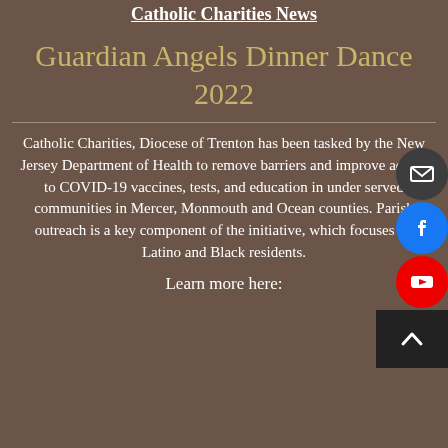Catholic Charities News
Guardian Angels Dinner Dance 2022
Catholic Charities, Diocese of Trenton has been tasked by the New Jersey Department of Health to remove barriers and improve access to COVID-19 vaccines, tests, and education in under served communities in Mercer, Monmouth and Ocean counties. Parish outreach is a key component of the initiative, which focuses on Latino and Black residents.
Learn more here: